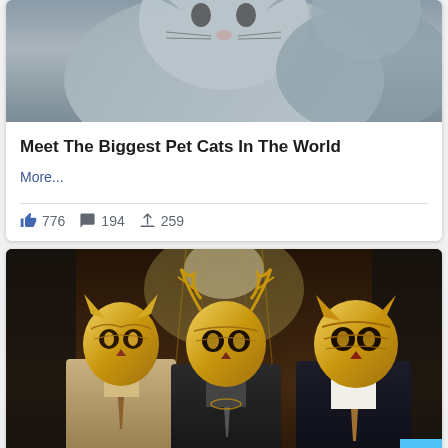[Figure (photo): Close-up photo of a large grey cat, cropped at top]
Meet The Biggest Pet Cats In The World
More...
776  194  259
[Figure (photo): Three people in suits wearing ornate gold cat/animal masks at a fancy event]